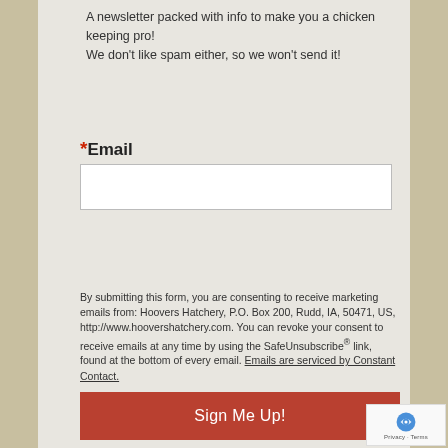A newsletter packed with info to make you a chicken keeping pro! We don't like spam either, so we won't send it!
*Email
By submitting this form, you are consenting to receive marketing emails from: Hoovers Hatchery, P.O. Box 200, Rudd, IA, 50471, US, http://www.hoovershatchery.com. You can revoke your consent to receive emails at any time by using the SafeUnsubscribe® link, found at the bottom of every email. Emails are serviced by Constant Contact.
Sign Me Up!